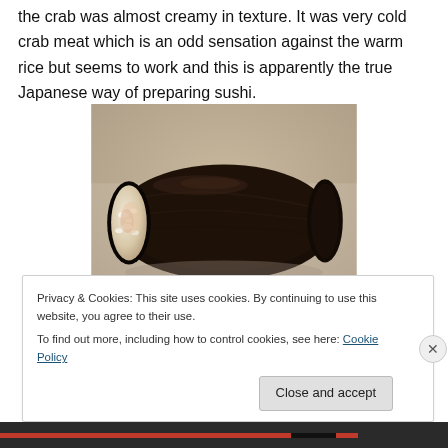the crab was almost creamy in texture. It was very cold crab meat which is an odd sensation against the warm rice but seems to work and this is apparently the true Japanese way of preparing sushi.
[Figure (photo): A sushi roll wrapped in dark nori seaweed, filled with white rice and crab meat, placed on a white plate. The interior of the roll is visible from one end.]
Privacy & Cookies: This site uses cookies. By continuing to use this website, you agree to their use.
To find out more, including how to control cookies, see here: Cookie Policy
Close and accept